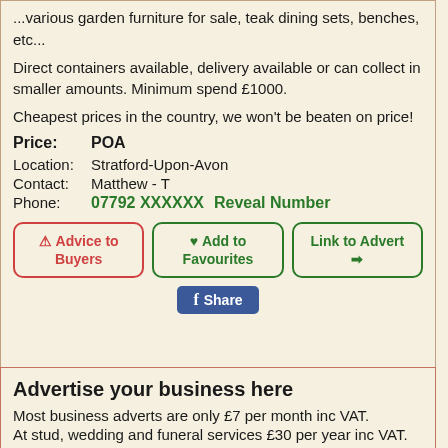...various garden furniture for sale, teak dining sets, benches, etc...
Direct containers available, delivery available or can collect in smaller amounts. Minimum spend £1000.
Cheapest prices in the country, we won't be beaten on price!
Price: POA
Location: Stratford-Upon-Avon
Contact: Matthew - T
Phone: 07792 XXXXXX  Reveal Number
[Figure (other): Three action buttons: Advice to Buyers (red border), Add to Favourites (green border), Link to Advert (green border), and a Facebook Share button]
Advertise your business here
Most business adverts are only £7 per month inc VAT.
At stud, wedding and funeral services £30 per year inc VAT.